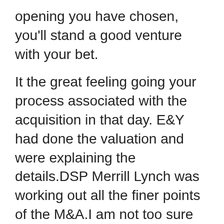opening you have chosen, you'll stand a good venture with your bet.
It the great feeling going your process associated with the acquisition in that day. E&Y had done the valuation and were explaining the details.DSP Merrill Lynch was working out all the finer points of the M&A.I am not too sure how many communications professionals have experienced this sort of experience. [link] was scheduled for six to eight.00 pm at the Oberoi Resort. I went to the venue early. The conference hall was bursting at the seams Football results a concern . media.
To take the analysis an additional level, you're able to look in the singles to find out if